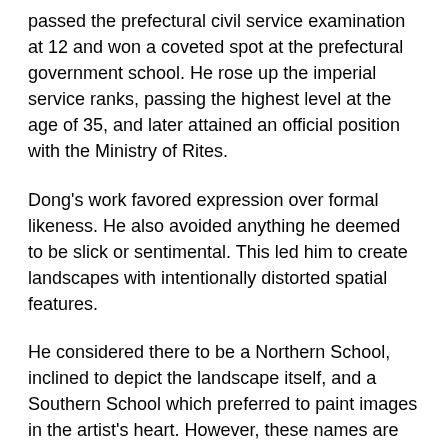passed the prefectural civil service examination at 12 and won a coveted spot at the prefectural government school. He rose up the imperial service ranks, passing the highest level at the age of 35, and later attained an official position with the Ministry of Rites.
Dong's work favored expression over formal likeness. He also avoided anything he deemed to be slick or sentimental. This led him to create landscapes with intentionally distorted spatial features.
He considered there to be a Northern School, inclined to depict the landscape itself, and a Southern School which preferred to paint images in the artist's heart. However, these names are perhaps misleading as they refer to the northern and southern schools of Zen rather than geographic areas. A northern painter could be geographically from the south. In any event, Dong strongly favored the Southern School and dismissed the